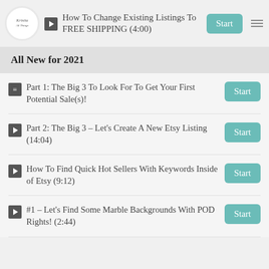How To Change Existing Listings To FREE SHIPPING (4:00)
All New for 2021
Part 1: The Big 3 To Look For To Get Your First Potential Sale(s)!
Part 2: The Big 3 – Let's Create A New Etsy Listing (14:04)
How To Find Quick Hot Sellers With Keywords Inside of Etsy (9:12)
#1 – Let's Find Some Marble Backgrounds With POD Rights! (2:44)